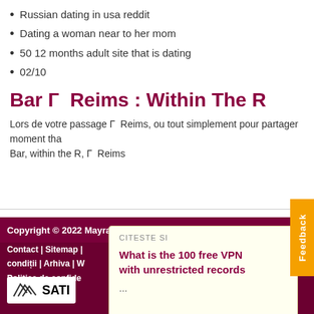Russian dating in usa reddit
Dating a woman near to her mom
50 12 months adult site that is dating
02/10
Bar Г  Reims : Within The R
Lors de votre passage Г  Reims, ou tout simplement pour partager moment tha Bar, within the R, Г  Reims
Copyright © 2022 Mayra.ro    Parteneri:    Contact | Sitemap |    condiții | Arhiva | W    Politica de confide
[Figure (logo): SATI logo with arrows]
CITESTE SI
What is the 100 free VPN with unrestricted records
...